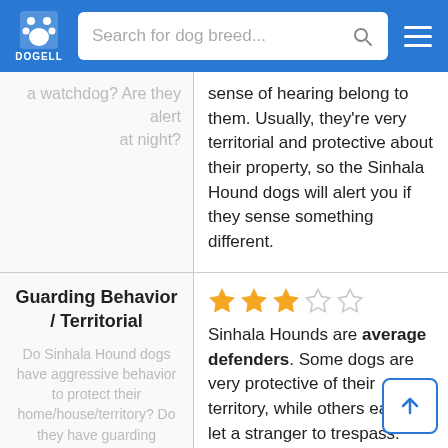DOGELL — Search for dog breed...
a watchdog? Are they alert at night?
sense of hearing belong to them. Usually, they're very territorial and protective about their property, so the Sinhala Hound dogs will alert you if they sense something different.
Guarding Behavior / Territorial
Do Sinhala Hound dogs have aggressive behavior to protect their home/house/territory? Do they have guarding instincts?
Sinhala Hounds are average defenders. Some dogs are very protective of their territory, while others easily let a stranger to trespass. This breed not sure to defend its territory in every